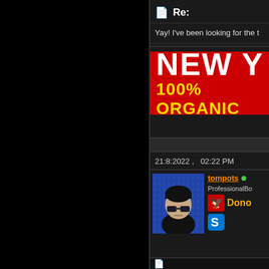Re:
Yay! I've been looking for the t
[Figure (illustration): Red advertisement banner with white bold text 'NEW Y' and yellow text '100% ORGANIC']
21:8:2022 ,   02:22 PM
[Figure (photo): Avatar of user tompots: person in black hat and sunglasses against blue digital background]
tompots
ProfessionalBo
[Figure (logo): Donor badge with hawk/eagle icon in red and black with 'Donor' text in orange]
[Figure (logo): Skype icon - blue square with S]